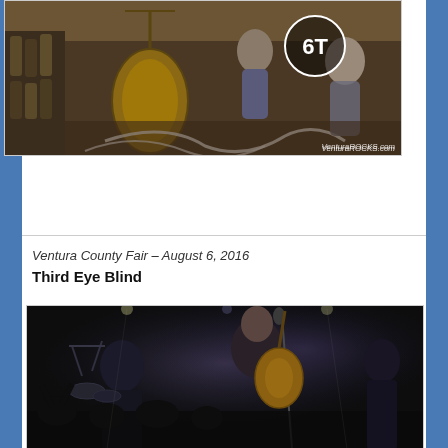[Figure (photo): Band performing in what appears to be a wine shop or restaurant, with a large upright bass visible, multiple performers, and 'VenturaROCKS.com' watermark in the lower right corner.]
Ventura County Fair – August 6, 2016
Third Eye Blind
[Figure (photo): Concert photo of Third Eye Blind performing on stage at night, showing a vocalist singing passionately into a microphone while playing guitar, with dark moody lighting and crowd visible in foreground.]